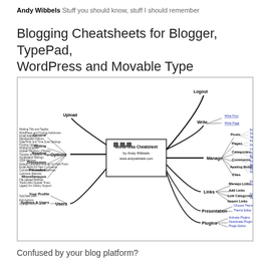Andy Wibbels  Stuff you should know, stuff I should remember
Blogging Cheatsheets for Blogger, TypePad, WordPress and Movable Type
[Figure (other): WordPress Cheatsheet mind map by Andy Wibbels (www.andywibbels.com) showing nodes for Logout, Write, Manage, Links, Presentation, Plugins, Users, and Options with many sub-branches.]
Confused by your blog platform?